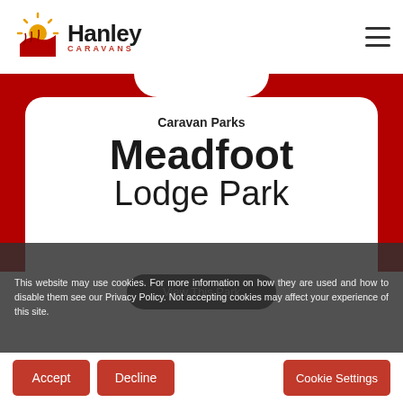[Figure (logo): Hanley Caravans logo with sun/wheat graphic icon and text 'Hanley CARAVANS']
Caravan Parks
Meadfoot Lodge Park
View This Park
This website may use cookies. For more information on how they are used and how to disable them see our Privacy Policy. Not accepting cookies may affect your experience of this site.
Accept
Decline
Cookie Settings